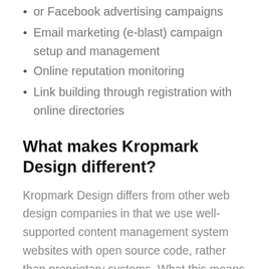or Facebook advertising campaigns
Email marketing (e-blast) campaign setup and management
Online reputation monitoring
Link building through registration with online directories
What makes Kropmark Design different?
Kropmark Design differs from other web design companies in that we use well-supported content management system websites with open source code, rather than proprietary systems. What this means to you is that you will own your website outright, rather than rent it. If at any time you decide you don't like your web hosting, you can move your